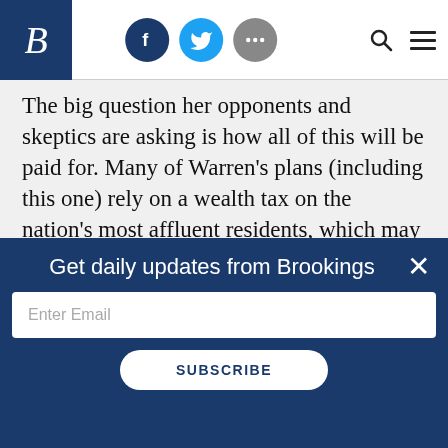Brookings Institution header with logo, social icons (Facebook, Twitter, more), search, and menu
The big question her opponents and skeptics are asking is how all of this will be paid for. Many of Warren’s plans (including this one) rely on a wealth tax on the nation’s most affluent residents, which may be difficult to get through Congress. Consequently, she is taking an all-or-nothing approach to policymaking: If the wealth tax is not
Get daily updates from Brookings
Enter Email
SUBSCRIBE